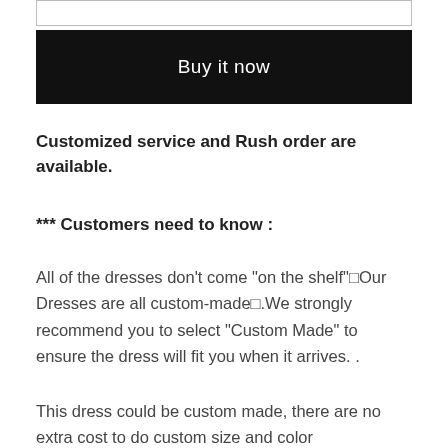[Figure (other): Empty input/text field box at top]
[Figure (other): Black 'Buy it now' button]
Customized service and Rush order are available.
*** Customers need to know :
All of the dresses don't come "on the shelf" Our Dresses are all custom-made .We strongly recommend you to select "Custom Made" to ensure the dress will fit you when it arrives. .
This dress could be custom made, there are no extra cost to do custom size and color